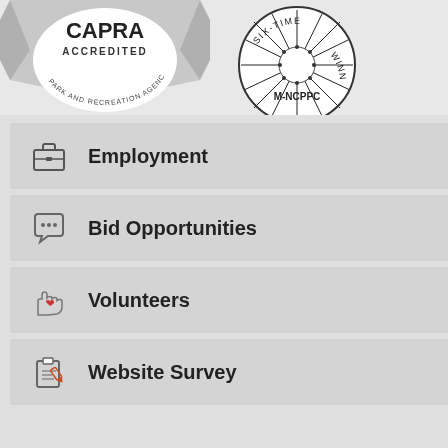[Figure (logo): CAPRA Accredited Park and Recreation Agencies seal - ribbon style logo with text]
[Figure (logo): M-NCPPC Six-Time Winner circular badge with sunburst design]
Employment
Bid Opportunities
Volunteers
Website Survey